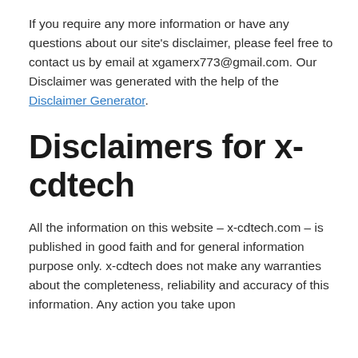If you require any more information or have any questions about our site's disclaimer, please feel free to contact us by email at xgamerx773@gmail.com. Our Disclaimer was generated with the help of the Disclaimer Generator.
Disclaimers for x-cdtech
All the information on this website – x-cdtech.com – is published in good faith and for general information purpose only. x-cdtech does not make any warranties about the completeness, reliability and accuracy of this information. Any action you take upon the information you find on this website...